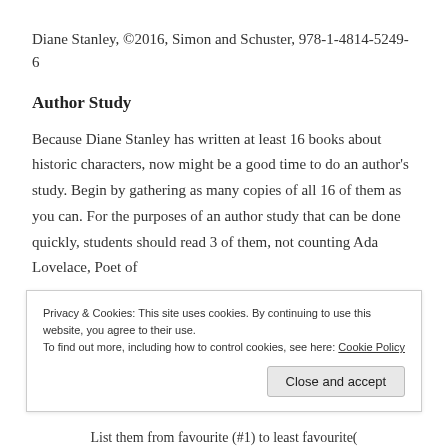Diane Stanley, ©2016, Simon and Schuster, 978-1-4814-5249-6
Author Study
Because Diane Stanley has written at least 16 books about historic characters, now might be a good time to do an author's study. Begin by gathering as many copies of all 16 of them as you can. For the purposes of an author study that can be done quickly, students should read 3 of them, not counting Ada Lovelace, Poet of
Privacy & Cookies: This site uses cookies. By continuing to use this website, you agree to their use.
To find out more, including how to control cookies, see here: Cookie Policy
Close and accept
List them from favourite (#1) to least favourite(